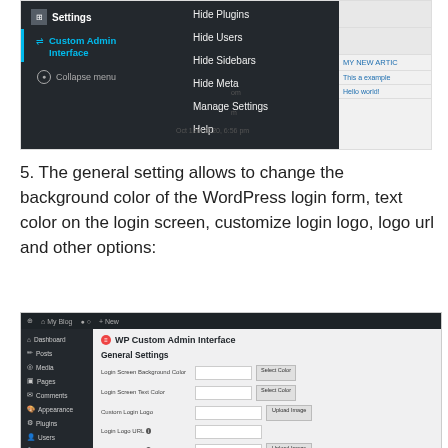[Figure (screenshot): WordPress admin sidebar showing Settings > Custom Admin Interface selected, with a dropdown menu open showing options: Hide Plugins, Hide Users, Hide Sidebars, Hide Meta, Manage Settings, Help. Right side shows partial post list with blue links.]
5. The general setting allows to change the background color of the WordPress login form, text color on the login screen, customize login logo, logo url and other options:
[Figure (screenshot): WordPress admin screen showing WP Custom Admin Interface plugin settings page with General Settings section, fields for Login Screen Background Color, Login Screen Text Color, Custom Login Logo, Login Logo URL, and Custom Favicon.]